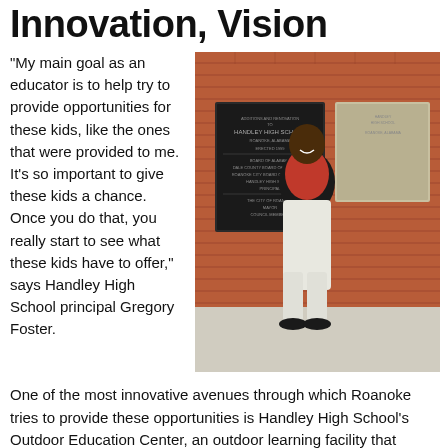Innovation, Vision
“My main goal as an educator is to help try to provide opportunities for these kids, like the ones that were provided to me. It’s so important to give these kids a chance. Once you do that, you really start to see what these kids have to offer,” says Handley High School principal Gregory Foster.
[Figure (photo): Man in red polo shirt and white pants standing in front of a brick wall with plaques, identified as Handley High School principal Gregory Foster.]
One of the most innovative avenues through which Roanoke tries to provide these opportunities is Handley High School’s Outdoor Education Center, an outdoor learning facility that boasts fruit and vegetable patches, a chicken coop, fish hatcheries, bee-keeping facilities, and more. Along community projects like the theater and bank building restorations, the OEC shows Roanoke is a town that is willing to
BACK TO TOP